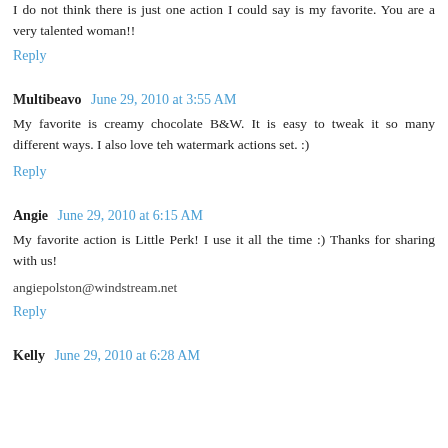I do not think there is just one action I could say is my favorite. You are a very talented woman!!
Reply
Multibeavo  June 29, 2010 at 3:55 AM
My favorite is creamy chocolate B&W. It is easy to tweak it so many different ways. I also love teh watermark actions set. :)
Reply
Angie  June 29, 2010 at 6:15 AM
My favorite action is Little Perk! I use it all the time :) Thanks for sharing with us!
angiepolston@windstream.net
Reply
Kelly  June 29, 2010 at 6:28 AM